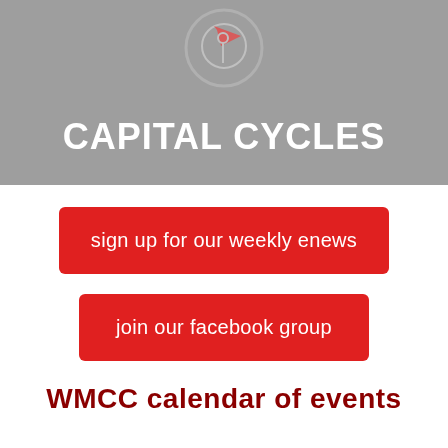[Figure (logo): Capital Cycles logo banner with gray background, bicycle/cycling icon at top, and bold white text 'CAPITAL CYCLES']
sign up for our weekly enews
join our facebook group
WMCC calendar of events